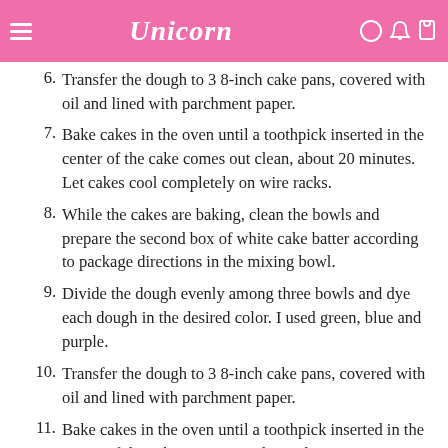Unicorn
6. Transfer the dough to 3 8-inch cake pans, covered with oil and lined with parchment paper.
7. Bake cakes in the oven until a toothpick inserted in the center of the cake comes out clean, about 20 minutes. Let cakes cool completely on wire racks.
8. While the cakes are baking, clean the bowls and prepare the second box of white cake batter according to package directions in the mixing bowl.
9. Divide the dough evenly among three bowls and dye each dough in the desired color. I used green, blue and purple.
10. Transfer the dough to 3 8-inch cake pans, covered with oil and lined with parchment paper.
11. Bake cakes in the oven until a toothpick inserted in the center of the cake comes out clean, about 20 minutes. Let cakes cool completely on wire racks.
12. Do not start frosting the cake until it has cooled completely.
13. Stack cakes on a cake stand, layering them in white frosting between each layer.
14. Frost and smooth the entire cake in white frosting. You will use about 2 cups of frosting.